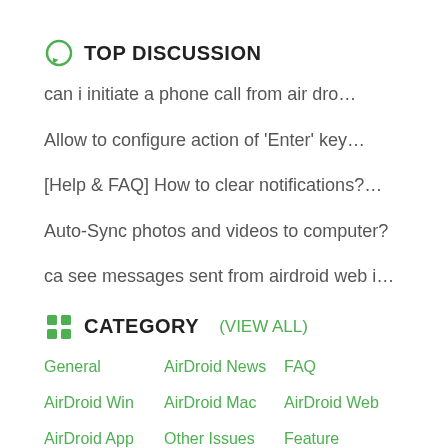TOP DISCUSSION
can i initiate a phone call from air dro…
Allow to configure action of 'Enter' key…
[Help & FAQ] How to clear notifications?…
Auto-Sync photos and videos to computer?
ca see messages sent from airdroid web i…
CATEGORY  (VIEW ALL)
General
AirDroid News
FAQ
AirDroid Win
AirDroid Mac
AirDroid Web
AirDroid App
Other Issues
Feature Requests
Translate AirDroid